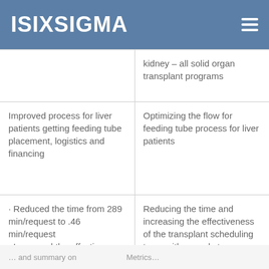ISIXSIGMA
| Process/Problem | Goal/Objective |
| --- | --- |
| kidney – all solid organ transplant programs |  |
| Improved process for liver patients getting feeding tube placement, logistics and financing | Optimizing the flow for feeding tube process for liver patients |
| · Reduced the time from 289 min/request to .46 min/request
· Increased the effectiveness of knowledge gained from 58% to 100% | Reducing the time and increasing the effectiveness of the transplant scheduling team with regards to scheduling processes |